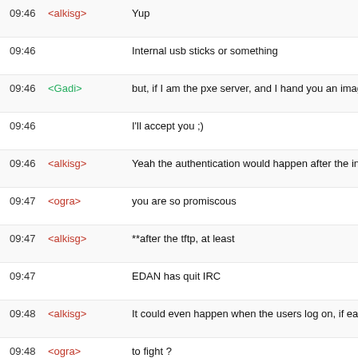09:46  <alkisg>  Yup
09:46           Internal usb sticks or something
09:46  <Gadi>   but, if I am the pxe server, and I hand you an imag...
09:46           I'll accept you ;)
09:46  <alkisg> Yeah the authentication would happen after the ini...
09:47  <ogra>   you are so promiscous
09:47  <alkisg> **after the tftp, at least
09:47           EDAN has quit IRC
09:48  <alkisg> It could even happen when the users log on, if eac...
09:48  <ogra>   to fight ?
09:48  <alkisg> If they all had sticks and ARMs... why not :)
09:49  <ogra>   pointy sticks ?
09:59  * alkisg forgot to mention that a man in the middle can serve the eve...